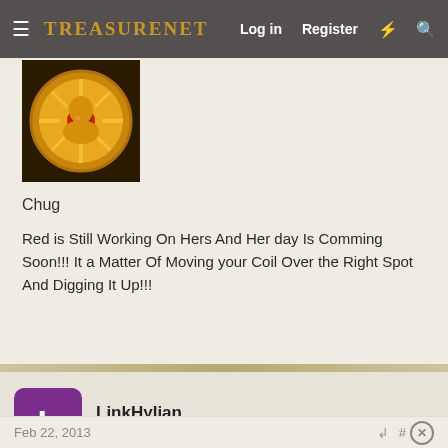TreasureNet  Log in  Register
[Figure (photo): Golden ornamental medallion or brooch with red gemstone, detailed relief work]
Chug
Red is Still Working On Hers And Her day Is Comming Soon!!! It a Matter Of Moving your Coil Over the Right Spot And Digging It Up!!!
LinkHylian
Sr. Member
Feb 22, 2013  #